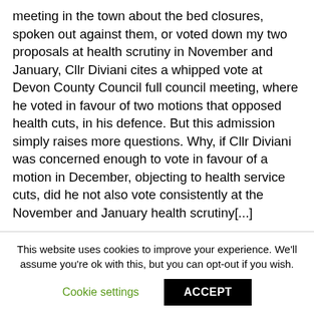meeting in the town about the bed closures, spoken out against them, or voted down my two proposals at health scrutiny in November and January, Cllr Diviani cites a whipped vote at Devon County Council full council meeting, where he voted in favour of two motions that opposed health cuts, in his defence. But this admission simply raises more questions. Why, if Cllr Diviani was concerned enough to vote in favour of a motion in December, objecting to health service cuts, did he not also vote consistently at the November and January health scrutiny[...]
This website uses cookies to improve your experience. We'll assume you're ok with this, but you can opt-out if you wish.
Cookie settings   ACCEPT